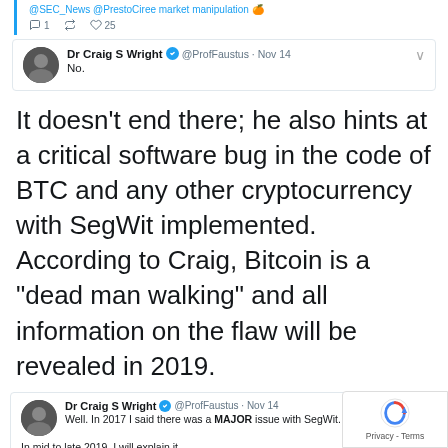[Figure (screenshot): Partial tweet from @SEC_News @PrestoCiree about market manipulation with reply count 1, retweet 2, likes 25]
[Figure (screenshot): Tweet from Dr Craig S Wright @ProfFaustus Nov 14 saying 'No.']
It doesn't end there; he also hints at a critical software bug in the code of BTC and any other cryptocurrency with SegWit implemented. According to Craig, Bitcoin is a "dead man walking" and all information on the flaw will be revealed in 2019.
[Figure (screenshot): Tweet from Dr Craig S Wright @ProfFaustus Nov 14: 'Well. In 2017 I said there was a MAJOR issue with SegWit. In mid to late 2019, I will explain it. It cannot be removed. It cannot be fixed. It is not solvable and, you cannot work around it. Sorry. You allowed Core to kill BTC. I did try and stop you.' Reply 131, Retweet 111, Likes 392]